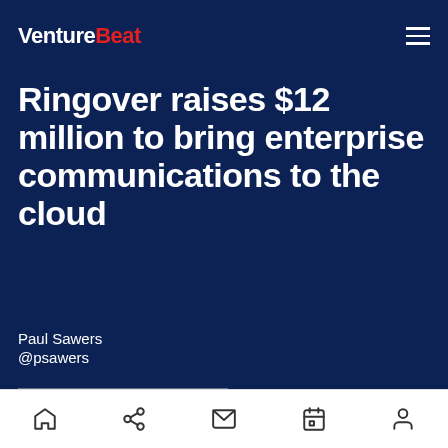VentureBeat
Ringover raises $12 million to bring enterprise communications to the cloud
Paul Sawers
@psawers
January 25, 2021 11:00 PM
[Figure (screenshot): Partial screenshot of Ringover application interface showing navigation bar]